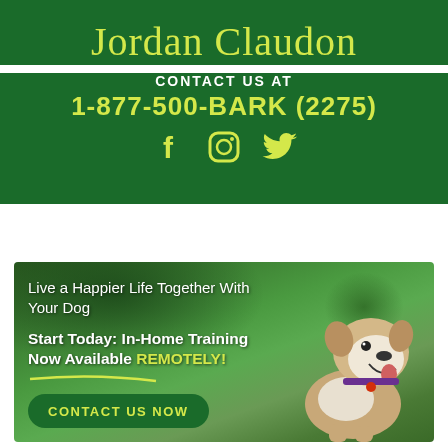Jordan Claudon
CONTACT US AT
1-877-500-BARK (2275)
[Figure (infographic): Social media icons: Facebook, Instagram, Twitter in yellow on dark green background]
[Figure (photo): A white and brown bulldog sitting on green grass in a garden setting with plants and a building in the background. Text overlay reads: 'Live a Happier Life Together With Your Dog' and 'Start Today: In-Home Training Now Available REMOTELY!' with a contact button.]
Live a Happier Life Together With Your Dog
Start Today: In-Home Training Now Available REMOTELY!
CONTACT US NOW